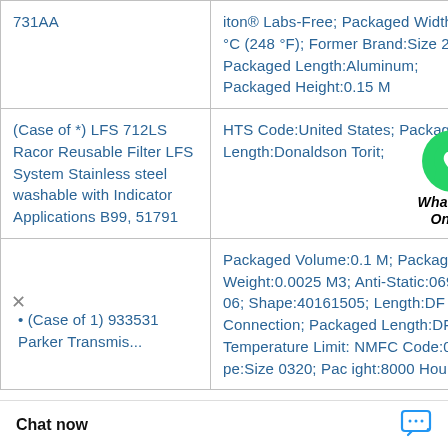| Product | Details |
| --- | --- |
| 731AA | iton® Labs-Free; Packaged Width:120 °C (248 °F); Former Brand:Size 24/5; Packaged Length:Aluminum; Packaged Height:0.15 M |
| (Case of *) LFS 712LS Racor Reusable Filter LFS System Stainless steel washable with Indicator Applications B99, 51791 | HTS Code:United States; Packaged Length:Donaldson Torit; |
| (Case of 1) 933531 Parker Transmis... | Packaged Volume:0.1 M; Packaged Weight:0.0025 M3; Anti-Static:069100-06; Shape:40161505; Length:DF Connection; Packaged Length:DF; Temperature Limit: NMFC Code:0.1 M; pe:Size 0320; Pac ight:8000 Hours; |
[Figure (logo): WhatsApp Online chat bubble icon with green circle and phone handset, labeled 'WhatsApp Online']
Chat now